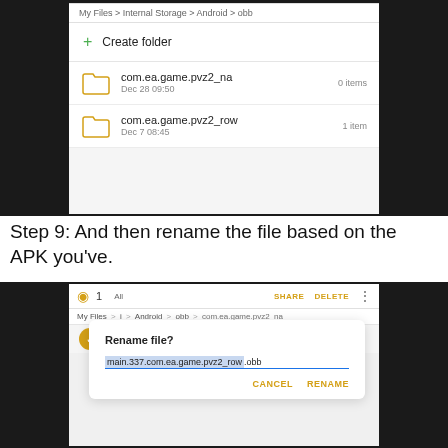[Figure (screenshot): Android file manager screenshot showing obb folder contents with 'Create folder' option, and two folders: com.ea.game.pvz2_na (Dec 28 09:50, 0 items) and com.ea.game.pvz2_row (Dec 7 08:45, 1 item)]
Step 9: And then rename the file based on the APK you've.
[Figure (screenshot): Android file manager screenshot showing rename file dialog with input 'main.337.com.ea.game.pvz2_row.obb' with CANCEL and RENAME buttons]